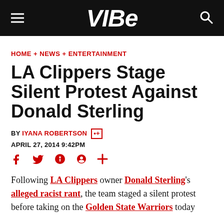VIBE
HOME + NEWS + ENTERTAINMENT
LA Clippers Stage Silent Protest Against Donald Sterling
BY IYANA ROBERTSON
APRIL 27, 2014 9:42PM
Following LA Clippers owner Donald Sterling's alleged racist rant, the team staged a silent protest before taking on the Golden State Warriors today